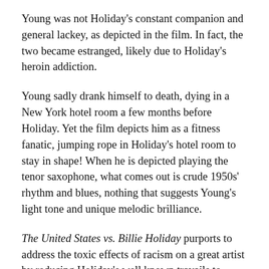Young was not Holiday's constant companion and general lackey, as depicted in the film. In fact, the two became estranged, likely due to Holiday's heroin addiction.
Young sadly drank himself to death, dying in a New York hotel room a few months before Holiday. Yet the film depicts him as a fitness fanatic, jumping rope in Holiday's hotel room to stay in shape! When he is depicted playing the tenor saxophone, what comes out is crude 1950s' rhythm and blues, nothing that suggests Young's light tone and unique melodic brilliance.
The United States vs. Billie Holiday purports to address the toxic effects of racism on a great artist by reducing Holiday's well known travails to cliché-ridden tropes that do a great disservice to her legacy. At no point do we get the slightest indication of why Billie Holiday was a renowned singer, or of the source of the joy that infused